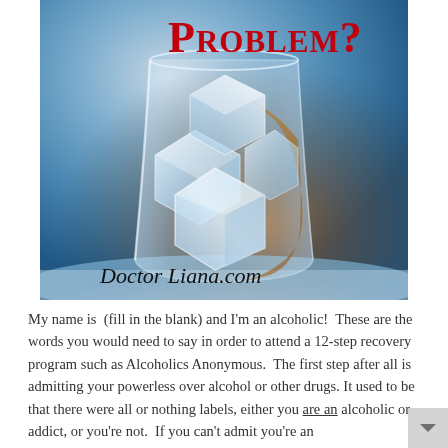[Figure (photo): Photo of a whiskey glass filled with ice cubes and amber liquid against a blue background. Overlaid text reads 'Problem?' in bold red letters at top right, and 'Doctor Liana.com' in dark italic text at bottom right of the image.]
My name is  (fill in the blank) and I'm an alcoholic!  These are the words you would need to say in order to attend a 12-step recovery program such as Alcoholics Anonymous.  The first step after all is admitting your powerless over alcohol or other drugs.  It used to be that there were all or nothing labels, either you are an alcoholic or addict, or you're not.  If you can't admit you're an